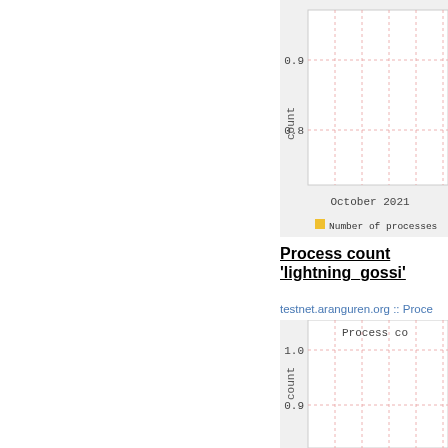[Figure (continuous-plot): Top chart panel (cropped, right portion visible): line/area chart with y-axis labeled 'count', showing values 0.9 and 0.8. X-axis shows 'October 2021'. Legend shows 'Number of processes' in yellow/gold square.]
Process count 'lightning_gossi'
testnet.aranguren.org :: Proce
[Figure (continuous-plot): Bottom chart panel (cropped, right portion visible): line/area chart with y-axis labeled 'count', showing values 1.0 and 0.9. Title 'Process co' visible. Multiple vertical dashed gridlines in pink/red.]